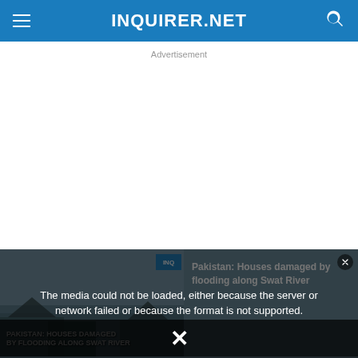INQUIRER.NET
Advertisement
[Figure (screenshot): Video player showing 'Pakistan: Houses damaged by flooding along Swat River' with an error overlay reading 'The media could not be loaded, either because the server or network failed or because the format is not supported.' and a dismiss X button at the bottom.]
Pakistan: Houses damaged by flooding along Swat River